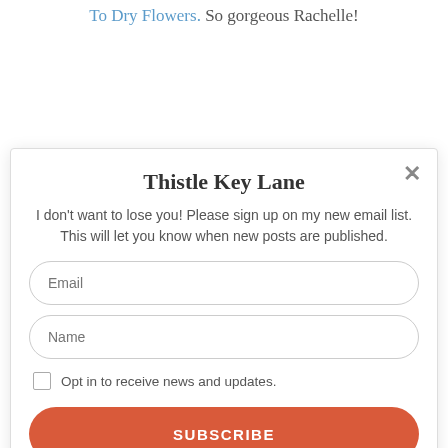To Dry Flowers. So gorgeous Rachelle!
Thistle Key Lane
I don't want to lose you! Please sign up on my new email list. This will let you know when new posts are published.
Email
Name
Opt in to receive news and updates.
SUBSCRIBE